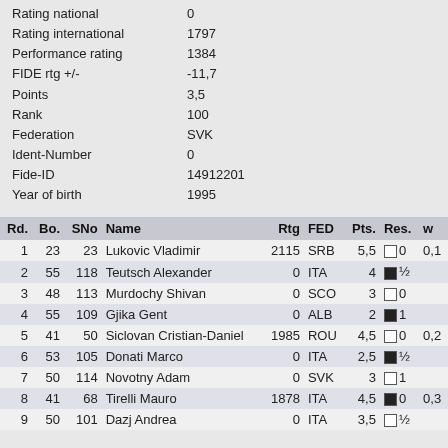Rating national   0
Rating international   1797
Performance rating   1384
FIDE rtg +/-   -11,7
Points   3,5
Rank   100
Federation   SVK
Ident-Number   0
Fide-ID   14912201
Year of birth   1995
| Rd. | Bo. | SNo | Name | Rtg | FED | Pts. | Res. | w |
| --- | --- | --- | --- | --- | --- | --- | --- | --- |
| 1 | 23 | 23 | Lukovic Vladimir | 2115 | SRB | 5,5 | □ 0 | 0,1 |
| 2 | 55 | 118 | Teutsch Alexander | 0 | ITA | 4 | ■ ½ |  |
| 3 | 48 | 113 | Murdochy Shivan | 0 | SCO | 3 | □ 0 |  |
| 4 | 55 | 109 | Gjika Gent | 0 | ALB | 2 | ■ 1 |  |
| 5 | 41 | 50 | Siclovan Cristian-Daniel | 1985 | ROU | 4,5 | □ 0 | 0,2 |
| 6 | 53 | 105 | Donati Marco | 0 | ITA | 2,5 | ■ ½ |  |
| 7 | 50 | 114 | Novotny Adam | 0 | SVK | 3 | □ 1 |  |
| 8 | 41 | 68 | Tirelli Mauro | 1878 | ITA | 4,5 | ■ 0 | 0,3 |
| 9 | 50 | 101 | Dazj Andrea | 0 | ITA | 3,5 | □ ½ |  |